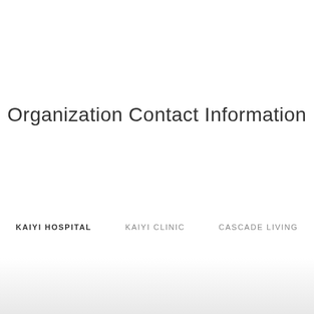Organization Contact Information
KAIYI HOSPITAL   KAIYI CLINIC   CASCADE LIVING